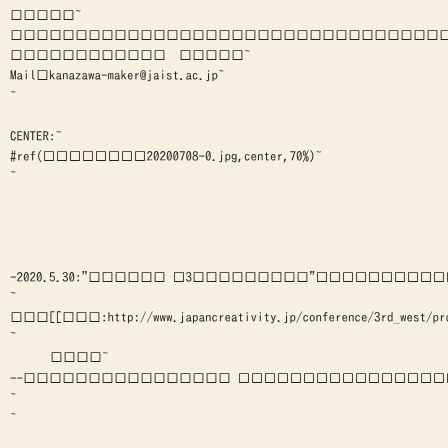□□□□□~
□□□□□□□□□□□□□□□□□□□□□□□□□□□□□□□□□□□~
□□□□□□□□□□□□　□□□□□~
Mail□kanazawa-maker@jaist.ac.jp~
~
CENTER:~
#ref(□□□□□□□□20200708-0.jpg,center,70%)~
~
-2020.5.30:"□□□□□□ □3□□□□□□□□□"□□□□□□□□□□□□□□□□□□□□□□□□□~
~
□□□[[□□□:http://www.japancreativity.jp/conference/3rd_west/program.htm
~
□□□□~
--□□□□□□□□□□□□□□□□ □□□□□□□□□□□□□□□□□□□□□□□□□□□□□□□□□□□□□□□□□□~
~
~